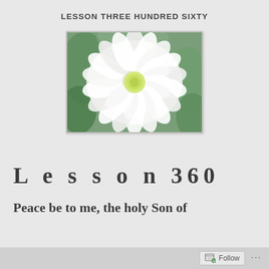LESSON THREE HUNDRED SIXTY
[Figure (photo): A large white chrysanthemum flower with light yellow-green center, surrounded by green foliage and hints of other flowers in the background.]
Lesson 360
Peace be to me, the holy Son of
Follow ...